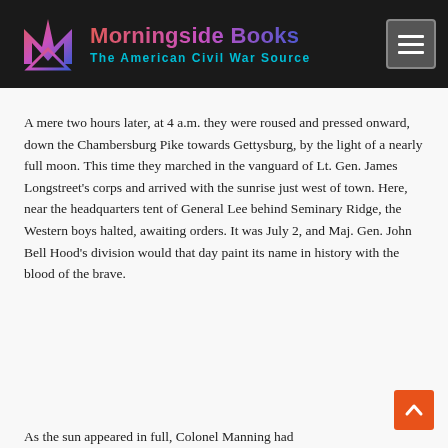Morningside Books — The American Civil War Source
A mere two hours later, at 4 a.m. they were roused and pressed onward, down the Chambersburg Pike towards Gettysburg, by the light of a nearly full moon. This time they marched in the vanguard of Lt. Gen. James Longstreet's corps and arrived with the sunrise just west of town. Here, near the headquarters tent of General Lee behind Seminary Ridge, the Western boys halted, awaiting orders. It was July 2, and Maj. Gen. John Bell Hood's division would that day paint its name in history with the blood of the brave.
As the sun appeared in full, Colonel Manning had